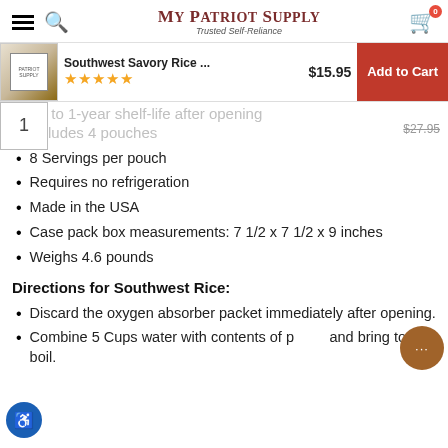My Patriot Supply — Trusted Self-Reliance
Southwest Savory Rice ... $15.95 | Add to Cart | ★★★★★ | Up to 25-year shelf-life unopened | Up to 1-year shelf-life after opening | Includes 4 pouches | 1 | $27.95
8 Servings per pouch
Requires no refrigeration
Made in the USA
Case pack box measurements: 7 1/2 x 7 1/2 x 9 inches
Weighs 4.6 pounds
Directions for Southwest Rice:
Discard the oxygen absorber packet immediately after opening.
Combine 5 Cups water with contents of pouch and bring to a boil.